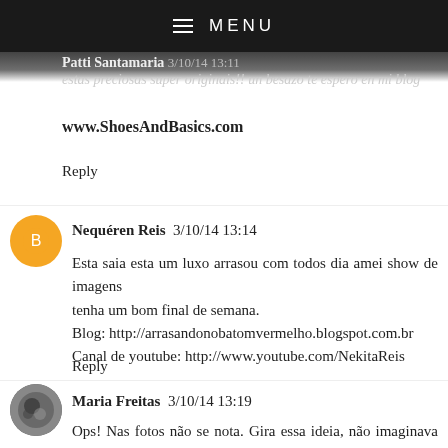MENU
Patti Santamaria 3/10/14 13:11
estas preciosas super originais!! un besazo te espero en mi blog
www.ShoesAndBasics.com
Reply
Nequéren Reis  3/10/14 13:14
Esta saia esta um luxo arrasou com todos dia amei show de imagens
tenha um bom final de semana.
Blog: http://arrasandonobatomvermelho.blogspot.com.br
Canal de youtube: http://www.youtube.com/NekitaReis
Reply
Maria Freitas  3/10/14 13:19
Ops! Nas fotos não se nota. Gira essa ideia, não imaginava que existisse...